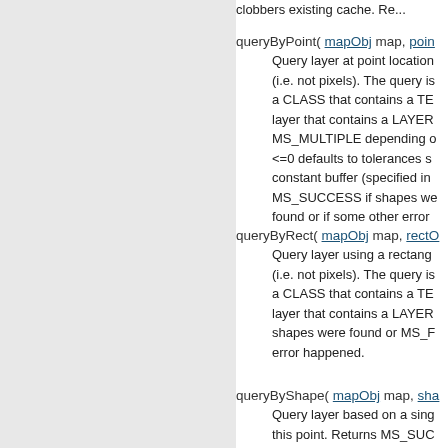clobbers existing cache. Re...
queryByPoint( mapObj map, poin...
Query layer at point location (i.e. not pixels). The query is a CLASS that contains a TE... layer that contains a LAYER... MS_MULTIPLE depending o... <=0 defaults to tolerances s... constant buffer (specified in... MS_SUCCESS if shapes we... found or if some other error...
queryByRect( mapObj map, rectO...
Query layer using a rectang... (i.e. not pixels). The query is a CLASS that contains a TE... layer that contains a LAYER... shapes were found or MS_F... error happened.
queryByShape( mapObj map, sha...
Query layer based on a sing... this point. Returns MS_SUC... if nothing was found or if so...